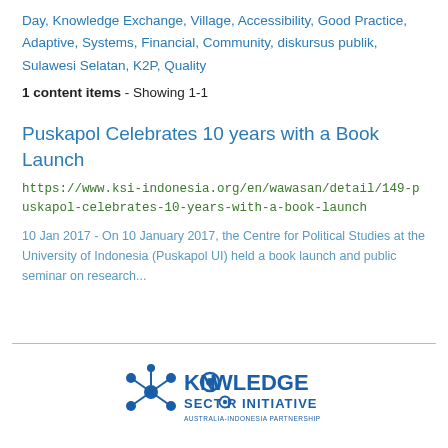Day, Knowledge Exchange, Village, Accessibility, Good Practice, Adaptive, Systems, Financial, Community, diskursus publik, Sulawesi Selatan, K2P, Quality
1 content items - Showing 1-1
Puskapol Celebrates 10 years with a Book Launch
https://www.ksi-indonesia.org/en/wawasan/detail/149-puskapol-celebrates-10-years-with-a-book-launch
10 Jan 2017 - On 10 January 2017, the Centre for Political Studies at the University of Indonesia (Puskapol UI) held a book launch and public seminar on research...
[Figure (logo): Knowledge Sector Initiative logo with molecule/network graphic and text 'KNOWLEDGE SECTOR INITIATIVE' and 'AUSTRALIA-INDONESIA PARTNERSHIP']